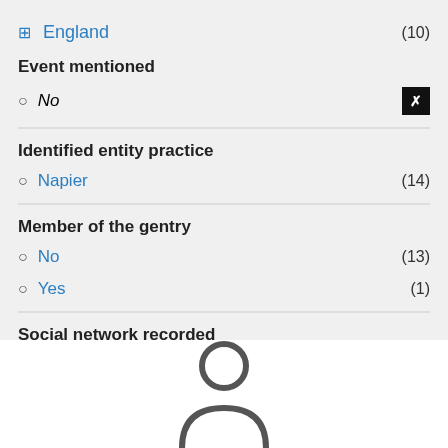England (10)
Event mentioned
No [selected]
Identified entity practice
Napier (14)
Member of the gentry
No (13)
Yes (1)
Social network recorded
No [selected]
[Figure (illustration): Person silhouette icon at the bottom of the page]